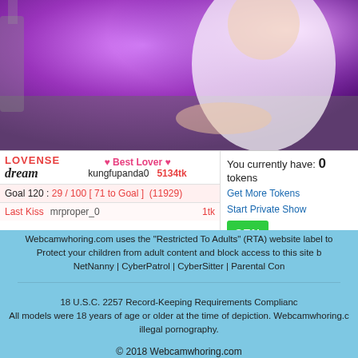[Figure (screenshot): Webcam stream screenshot showing a person in a white dress on a bed with purple-lit background]
LOVENSE dream ♥ Best Lover ♥ kungfupanda0 5134tk
Goal 120 : 29 / 100 [ 71 to Goal ] (11929)
Last Kiss mrproper_0 1tk
You currently have: 0 tokens
Get More Tokens
Start Private Show
SEN
Webcamwhoring.com uses the "Restricted To Adults" (RTA) website label to Protect your children from adult content and block access to this site b NetNanny | CyberPatrol | CyberSitter | Parental Con
18 U.S.C. 2257 Record-Keeping Requirements Compliance All models were 18 years of age or older at the time of depiction. Webcamwhoring.c illegal pornography.
© 2018 Webcamwhoring.com